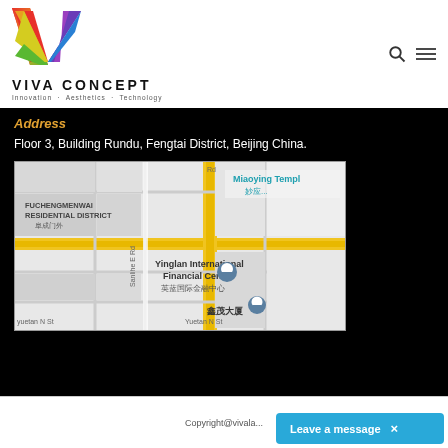[Figure (logo): Viva Concept logo with colorful V shape and text 'VIVA CONCEPT' with tagline 'Innovation · Aesthetics · Technology']
Address
Floor 3, Building Rundu, Fengtai District, Beijing China.
[Figure (map): Google Maps screenshot showing Fuchengmenwai Residential District, Miaoying Temple, Yinglan International Financial Center, and surrounding streets in Beijing]
Copyright@vivala...